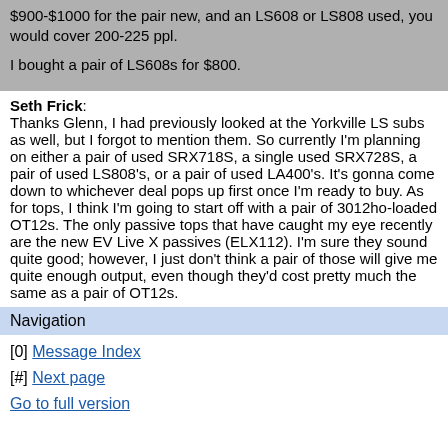$900-$1000 for the pair new, and an LS608 or LS808 used, you would cover 200-225 ppl.

I bought a pair of LS608s for $800.
Seth Frick: Thanks Glenn, I had previously looked at the Yorkville LS subs as well, but I forgot to mention them. So currently I'm planning on either a pair of used SRX718S, a single used SRX728S, a pair of used LS808's, or a pair of used LA400's. It's gonna come down to whichever deal pops up first once I'm ready to buy. As for tops, I think I'm going to start off with a pair of 3012ho-loaded OT12s. The only passive tops that have caught my eye recently are the new EV Live X passives (ELX112). I'm sure they sound quite good; however, I just don't think a pair of those will give me quite enough output, even though they'd cost pretty much the same as a pair of OT12s.
Navigation
[0] Message Index
[#] Next page
Go to full version